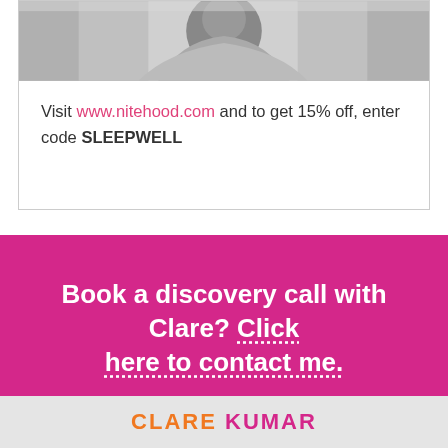[Figure (photo): Black and white photo of a woman, cropped at top of frame showing head and shoulders]
Visit www.nitehood.com and to get 15% off, enter code SLEEPWELL
Book a discovery call with Clare? Click here to contact me.
CLARE KUMAR